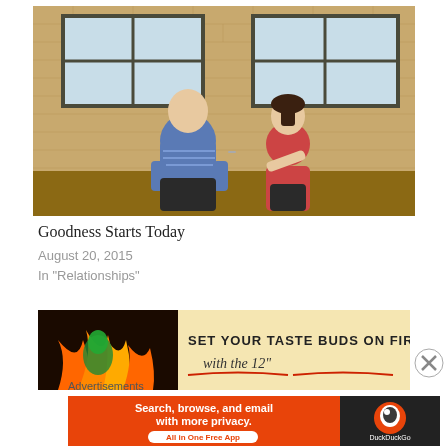[Figure (photo): A man in a blue striped t-shirt and a young girl in a red tank top sitting on a wooden floor against a brick wall with large windows, sharing food with a spoon.]
Goodness Starts Today
August 20, 2015
In "Relationships"
[Figure (photo): Advertisement banner with fire imagery and text: SET YOUR TASTE BUDS ON FIRE with the 12"]
Advertisements
[Figure (screenshot): DuckDuckGo advertisement: Search, browse, and email with more privacy. All in One Free App]